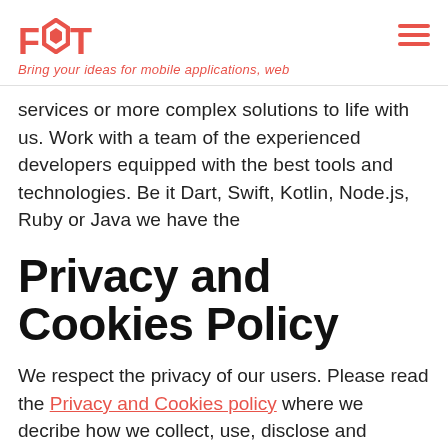FDT — Bring your ideas for mobile applications, web
services or more complex solutions to life with us. Work with a team of the experienced developers equipped with the best tools and technologies. Be it Dart, Swift, Kotlin, Node.js, Ruby or Java we have the
Privacy and Cookies Policy
We respect the privacy of our users. Please read the Privacy and Cookies policy where we decribe how we collect, use, disclose and safeguard your data.
Close | Accept